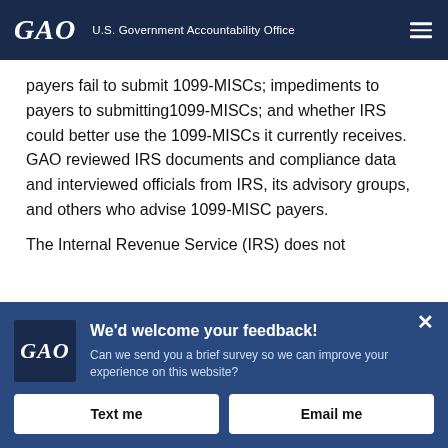GAO U.S. Government Accountability Office
payers fail to submit 1099-MISCs; impediments to payers to submitting1099-MISCs; and whether IRS could better use the 1099-MISCs it currently receives. GAO reviewed IRS documents and compliance data and interviewed officials from IRS, its advisory groups, and others who advise 1099-MISC payers.
The Internal Revenue Service (IRS) does not
We'd welcome your feedback!
Can we send you a brief survey so we can improve your experience on this website?
Text me
Email me